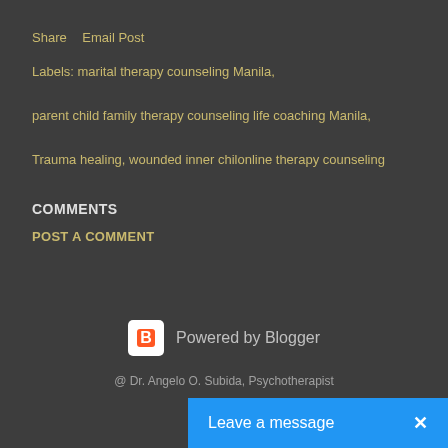Share   Email Post
Labels: marital therapy counseling Manila,
parent child family therapy counseling life coaching Manila,
Trauma healing, wounded inner chilonline therapy counseling
COMMENTS
POST A COMMENT
[Figure (logo): Powered by Blogger logo with white B icon on square background]
@ Dr. Angelo O. Subida, Psychotherapist
Leave a message  ✕